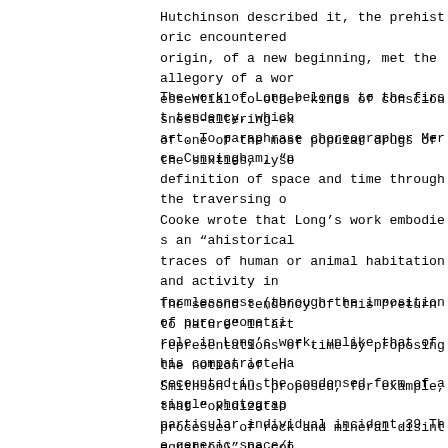Hutchinson described it, the prehistoric encountered origin, of a new beginning, met the allegory of a wor essential to other kinds of consciousness-altering ex of one of the most popular drugs of the sixties, lyse
The work of Long belongs to the first tendency, which art. To paraphrase choreographer Merce Cunningham, "n definition of space and time through the traversing o Cooke wrote that Long's work embodies an "ahistorical traces of human or animal habitation and activity in formlessness (through the imposition of pure geometri role in Long's work, unlike that of his compatriot Ha recounted in the condensed form of a single photograp particular individual incident.39 The generic space/t which lend it the embryonic form of a story.
The second tendency of this "return to nature" in art representations of time by proposing the notion of en Smithson thus proposed, for example, that "oxidizatio processes of rock and mineral disintegration)" be con making of art."41 Homes for America,42 Dan Graham's 1 was recognized by Smithson 43 - suggests a more polit time, by depicting clusters of suburban houses that w